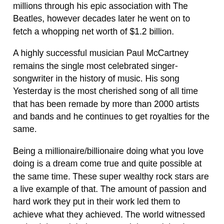millions through his epic association with The Beatles, however decades later he went on to fetch a whopping net worth of $1.2 billion.
A highly successful musician Paul McCartney remains the single most celebrated singer-songwriter in the history of music. His song Yesterday is the most cherished song of all time that has been remade by more than 2000 artists and bands and he continues to get royalties for the same.
Being a millionaire/billionaire doing what you love doing is a dream come true and quite possible at the same time. These super wealthy rock stars are a live example of that. The amount of passion and hard work they put in their work led them to achieve what they achieved. The world witnessed and celebrated their success. It is crucial to be one's true self and give your 100% doing what you love doing, and as they say success and wealth will follow you automatically.